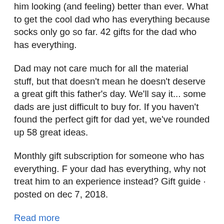him looking (and feeling) better than ever. What to get the cool dad who has everything because socks only go so far. 42 gifts for the dad who has everything.
Dad may not care much for all the material stuff, but that doesn't mean he doesn't deserve a great gift this father's day. We'll say it... some dads are just difficult to buy for. If you haven't found the perfect gift for dad yet, we've rounded up 58 great ideas.
Monthly gift subscription for someone who has everything. F your dad has everything, why not treat him to an experience instead? Gift guide · posted on dec 7, 2018.
Read more